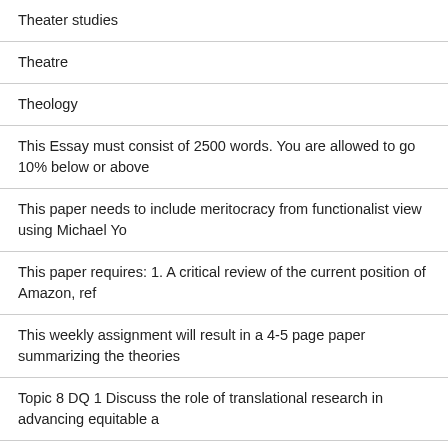Theater studies
Theatre
Theology
This Essay must consist of 2500 words. You are allowed to go 10% below or above
This paper needs to include meritocracy from functionalist view using Michael Yo
This paper requires: 1. A critical review of the current position of Amazon, ref
This weekly assignment will result in a 4-5 page paper summarizing the theories
Topic 8 DQ 1 Discuss the role of translational research in advancing equitable a